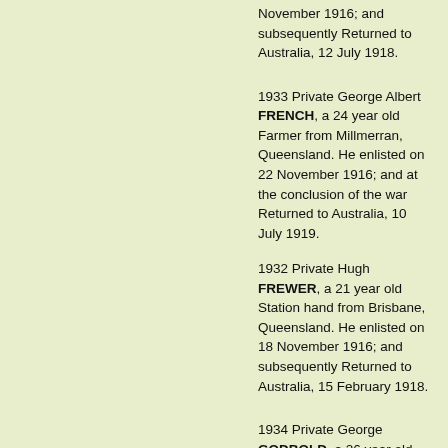November 1916; and subsequently Returned to Australia, 12 July 1918.
1933 Private George Albert FRENCH, a 24 year old Farmer from Millmerran, Queensland. He enlisted on 22 November 1916; and at the conclusion of the war Returned to Australia, 10 July 1919.
1932 Private Hugh FREWER, a 21 year old Station hand from Brisbane, Queensland. He enlisted on 18 November 1916; and subsequently Returned to Australia, 15 February 1918.
1934 Private George GODBOLD, a 26 year old Butcher from Gayndah, Queensland. He enlisted on 17 October 1916; and subsequently was Discharged in Egypt, 11 August 1919.